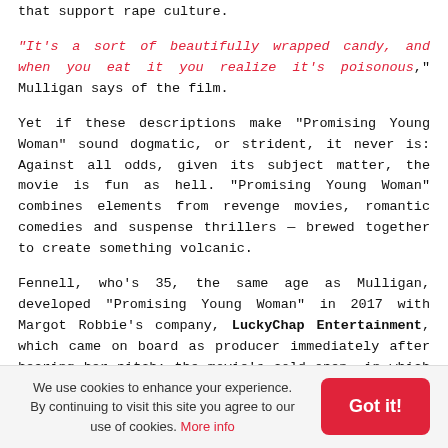that support rape culture.
"It's a sort of beautifully wrapped candy, and when you eat it you realize it's poisonous," Mulligan says of the film.
Yet if these descriptions make “Promising Young Woman” sound dogmatic, or strident, it never is: Against all odds, given its subject matter, the movie is fun as hell. “Promising Young Woman” combines elements from revenge movies, romantic comedies and suspense thrillers — brewed together to create something volcanic.
Fennell, who’s 35, the same age as Mulligan, developed “Promising Young Woman” in 2017 with Margot Robbie’s company, LuckyChap Entertainment, which came on board as producer immediately after hearing her pitch: the movie’s cold open, in which Cassie surprises a potential rapist by dropping her drunken act. LuckyChap co-founder Josey McNamara says their reaction was “Whatever the rest of it is, we want to do it.”
We use cookies to enhance your experience. By continuing to visit this site you agree to our use of cookies. More info